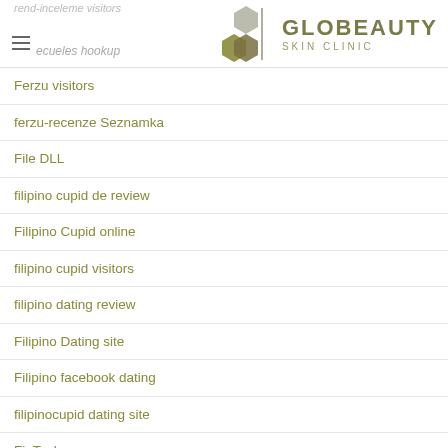GLOBEAUTY SKIN CLINIC
Ferzu visitors
ferzu-recenze Seznamka
File DLL
filipino cupid de review
Filipino Cupid online
filipino cupid visitors
filipino dating review
Filipino Dating site
Filipino facebook dating
filipinocupid dating site
FinTech